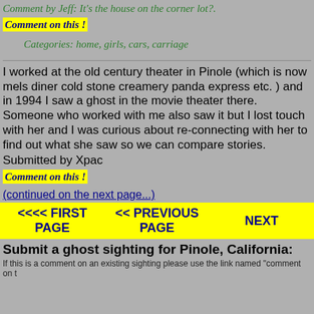Comment by Jeff: It's the house on the corner lot?.
Comment on this !
Categories: home, girls, cars, carriage
I worked at the old century theater in Pinole (which is now mels diner cold stone creamery panda express etc. ) and in 1994 I saw a ghost in the movie theater there. Someone who worked with me also saw it but I lost touch with her and I was curious about re-connecting with her to find out what she saw so we can compare stories.
Submitted by Xpac
Comment on this !
(continued on the next page...)
<<<< FIRST PAGE   << PREVIOUS PAGE   NEXT
Submit a ghost sighting for Pinole, California:
If this is a comment on an existing sighting please use the link named "comment on t